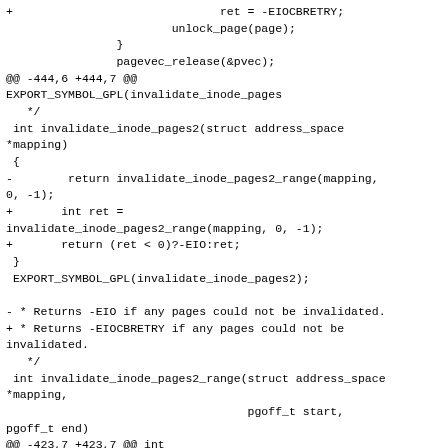Diff/patch code block showing changes to Linux kernel invalidate_inode_pages functions, including return value changes from -EIO to -EIOCBRETRY